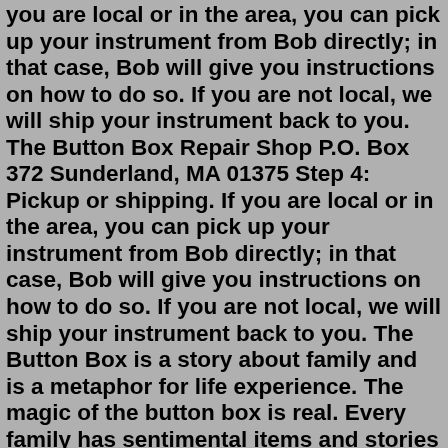you are local or in the area, you can pick up your instrument from Bob directly; in that case, Bob will give you instructions on how to do so. If you are not local, we will ship your instrument back to you. The Button Box Repair Shop P.O. Box 372 Sunderland, MA 01375 Step 4: Pickup or shipping. If you are local or in the area, you can pick up your instrument from Bob directly; in that case, Bob will give you instructions on how to do so. If you are not local, we will ship your instrument back to you. The Button Box is a story about family and is a metaphor for life experience. The magic of the button box is real. Every family has sentimental items and stories around which their memories are made. This story is about a family button box and the lessons learned from it during quiet special times between a mother and child. The Button Box, Scunthorpe. 2,335 likes · 18 talking about this · 53 were here. Official stockists of Sirdar, Sublime, King Cole, Scheepjes, Knit Pro, Pony, Peter Pan, Rico, James C Brett, West... The Button Box May 12, 2012 · Not unlike a button box,